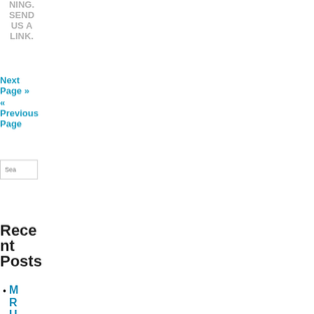NING. SEND US A LINK.
Next Page »
« Previous Page
[Figure (other): Search input box with placeholder text 'Sea']
[Figure (other): Go button in blue]
Recent Posts
M R U